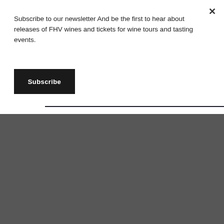Subscribe to our newsletter And be the first to hear about releases of FHV wines and tickets for wine tours and tasting events.
Subscribe
INFORMATION
Contact Us
Awards and Press
Social Impact